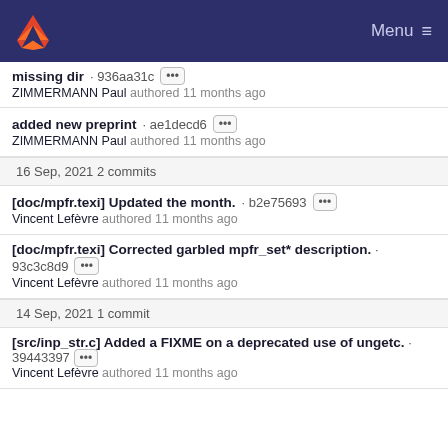Menu
missing dir · 936aa31c ···
ZIMMERMANN Paul authored 11 months ago
added new preprint · ae1decd6 ···
ZIMMERMANN Paul authored 11 months ago
16 Sep, 2021 2 commits
[doc/mpfr.texi] Updated the month. · b2e75693 ···
Vincent Lefèvre authored 11 months ago
[doc/mpfr.texi] Corrected garbled mpfr_set* description. · 93c3c8d9 ···
Vincent Lefèvre authored 11 months ago
14 Sep, 2021 1 commit
[src/inp_str.c] Added a FIXME on a deprecated use of ungetc. · 39443397 ···
Vincent Lefèvre authored 11 months ago